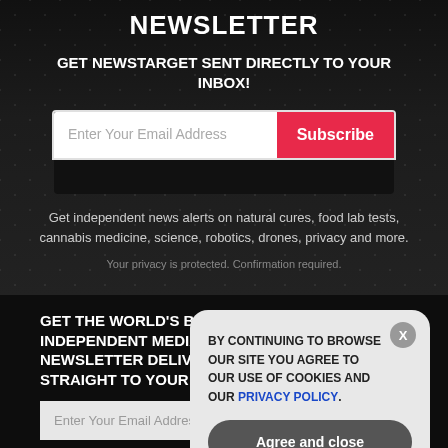NEWSLETTER
GET NEWSTARGET SENT DIRECTLY TO YOUR INBOX!
[Figure (screenshot): Email subscription form with white input field and red Subscribe button]
Get independent news alerts on natural cures, food lab tests, cannabis medicine, science, robotics, drones, privacy and more.
Your privacy is protected. Confirmation required.
GET THE WORLD'S BEST INDEPENDENT MEDIA NEWSLETTER DELIVERED STRAIGHT TO YOUR INBOX.
[Figure (screenshot): Second email subscription form with white input and Subscribe button]
BY CONTINUING TO BROWSE OUR SITE YOU AGREE TO OUR USE OF COOKIES AND OUR PRIVACY POLICY.
Agree and close